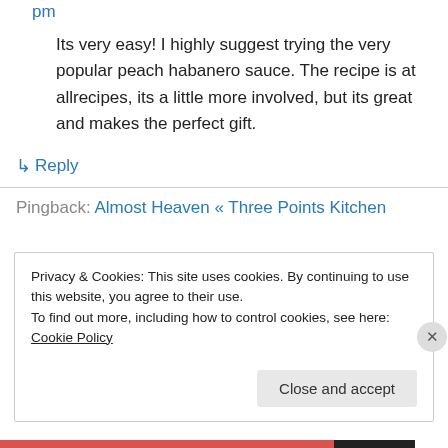pm
Its very easy! I highly suggest trying the very popular peach habanero sauce. The recipe is at allrecipes, its a little more involved, but its great and makes the perfect gift.
↳ Reply
Pingback: Almost Heaven « Three Points Kitchen
Privacy & Cookies: This site uses cookies. By continuing to use this website, you agree to their use.
To find out more, including how to control cookies, see here: Cookie Policy
Close and accept